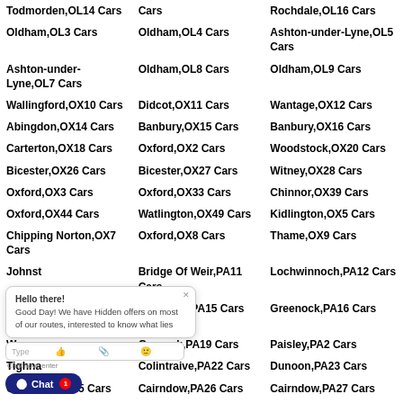Todmorden,OL14 Cars
Cars
Rochdale,OL16 Cars
Oldham,OL3 Cars
Oldham,OL4 Cars
Ashton-under-Lyne,OL5 Cars
Ashton-under-Lyne,OL7 Cars
Oldham,OL8 Cars
Oldham,OL9 Cars
Wallingford,OX10 Cars
Didcot,OX11 Cars
Wantage,OX12 Cars
Abingdon,OX14 Cars
Banbury,OX15 Cars
Banbury,OX16 Cars
Carterton,OX18 Cars
Oxford,OX2 Cars
Woodstock,OX20 Cars
Bicester,OX26 Cars
Bicester,OX27 Cars
Witney,OX28 Cars
Oxford,OX3 Cars
Oxford,OX33 Cars
Chinnor,OX39 Cars
Oxford,OX44 Cars
Watlington,OX49 Cars
Kidlington,OX5 Cars
Chipping Norton,OX7 Cars
Oxford,OX8 Cars
Thame,OX9 Cars
Johnst...
Bridge Of Weir,PA11 Cars
Lochwinnoch,PA12 Cars
Port G... Cars
Greenock,PA15 Cars
Greenock,PA16 Cars
Wemy... rs
Gourock,PA19 Cars
Paisley,PA2 Cars
Tighna...
Colintraive,PA22 Cars
Dunoon,PA23 Cars
Cairndow,PA25 Cars
Cairndow,PA26 Cars
Cairndow,PA27 Cars